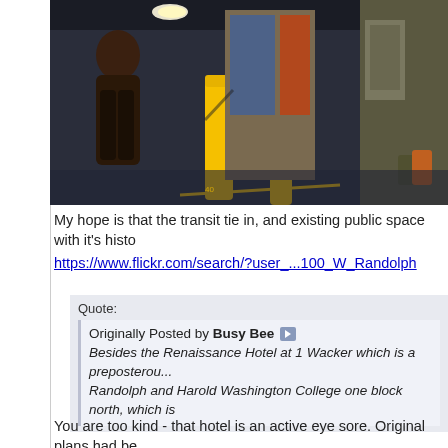[Figure (photo): Indoor photo showing a person standing near large industrial doors or panels, with yellow bollards and barriers visible, in a transit or parking structure setting.]
My hope is that the transit tie in, and existing public space with it's histo
https://www.flickr.com/search/?user_...100_W_Randolph
Quote:
Originally Posted by Busy Bee
Besides the Renaissance Hotel at 1 Wacker which is a preposterou...
Randolph and Harold Washington College one block north, which is
You are too kind - that hotel is an active eye sore. Original plans had be